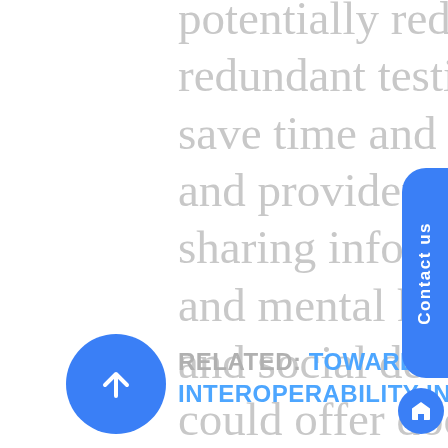potentially reduce the amount of redundant testing done, which could save time and money for patients and providers alike. In addition, sharing information like behavioral and mental health, substance use, and social determinants of health could offer doctors a more holistic understanding of a patient and the health challenges they face.
RELATED: TOWARDS THE BIG VISION OF INTEROPERABILITY IN HEALTHCARE